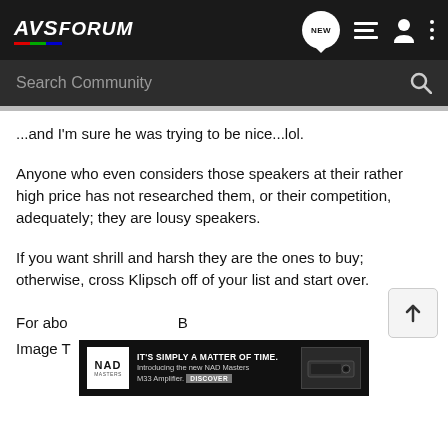[Figure (screenshot): AVSForum website header with logo, NEW message icon, list icon, user icon, and vertical dots menu icon on dark background]
[Figure (screenshot): Search Community search bar on dark grey background with magnifying glass icon]
...and I'm sure he was trying to be nice...lol.
Anyone who even considers those speakers at their rather high price has not researched them, or their competition, adequately; they are lousy speakers.
If you want shrill and harsh they are the ones to buy; otherwise, cross Klipsch off of your list and start over.
For abo... B Image T...
[Figure (screenshot): NAD advertisement banner: IT'S SIMPLY A MATTER OF TIME. Introducing the new NAD Masters M33 Amplifier. DISCOVER button. Image of amplifier device.]